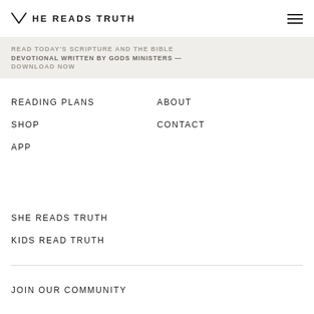HE READS TRUTH
READ TODAY'S SCRIPTURE AND THE BIBLE DEVOTIONAL WRITTEN BY GODS MINISTERS — DOWNLOAD NOW
READING PLANS
ABOUT
SHOP
CONTACT
APP
SHE READS TRUTH
KIDS READ TRUTH
JOIN OUR COMMUNITY